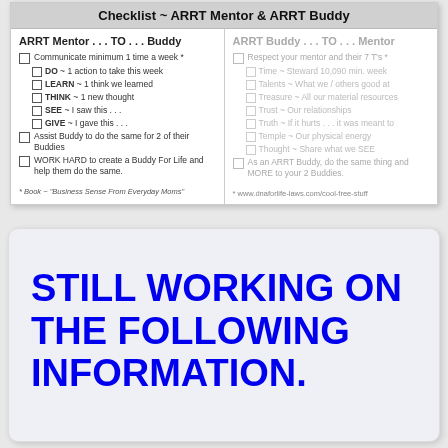Checklist ~ ARRT Mentor & ARRT Buddy
ARRT Mentor . . . TO . . . Buddy
Communicate minimum 1 time a week *
DO ~ 1 action to take this week
LEARN ~ 1 think we learned
THINK ~ 1 new thought
SEE ~ I saw this . . .
GIVE ~ I gave this . . .
Assist Buddy to do the same for 2 of their Buddies
WORK HARD to create a Buddy For Life and help them do the same.
* Book ~ "Business Sense From Everyday Moms"
ARRT Buddy . . . TO . . . Mentor
Respect your mentor and their 7 T's *
Time ~ Steward 10,090 min. week
Talents ~ What we / others good at
Treasure ~ All our material resources
Trust ~ Our relationships
Truth ~ If it hurts . . . it was meant to
Temple ~ Our physical energy
Thought ~ Share what we SEE
As an ARRT Buddy, do the same thing and MORE to your 2 Buddies.
* www.dnaforlife-laws.com/cool-free-stuff
STILL WORKING ON THE FOLLOWING INFORMATION.